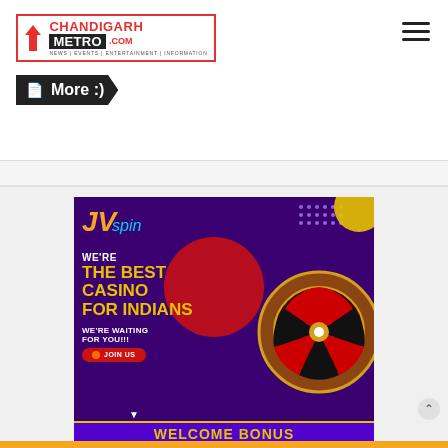[Figure (logo): Chandigarh Metro .com logo with red bird icon, red border, tagline: NEWS | EVENTS | ENTERTAINMENT | INFORMATION]
More :)
[Figure (advertisement): JV Spin casino advertisement banner with purple background. Text: WE'RE THE BEST CASINO FOR INDIANS, WE'RE WAITING FOR YOU!!!, JOIN US button, WELCOME BONUS. Features a woman in Indian attire, roulette wheel, coins, and playing cards.]